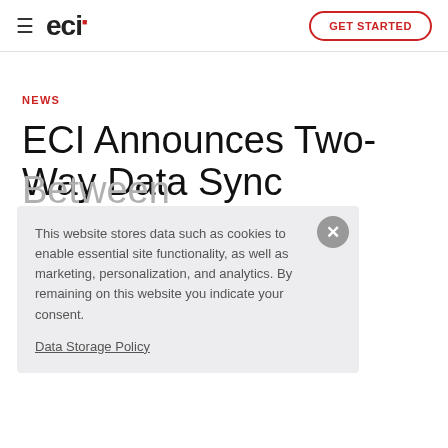ECI | GET STARTED
NEWS
ECI Announces Two-Way Data Sync Between MarkSystems® Software and Lasso CRM
This website stores data such as cookies to enable essential site functionality, as well as marketing, personalization, and analytics. By remaining on this website you indicate your consent.
Data Storage Policy